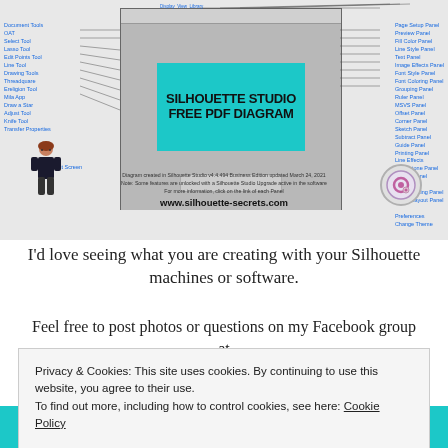[Figure (screenshot): Silhouette Studio Free PDF Diagram screenshot with labeled interface panels on left and right sides, teal title box in center, character illustration bottom-left, logo bottom-right, URL www.silhouette-secrets.com]
I'd love seeing what you are creating with your Silhouette machines or software.
Feel free to post photos or questions on my Facebook group at
Privacy & Cookies: This site uses cookies. By continuing to use this website, you agree to their use.
To find out more, including how to control cookies, see here: Cookie Policy
Close and accept
CREATE A CARD